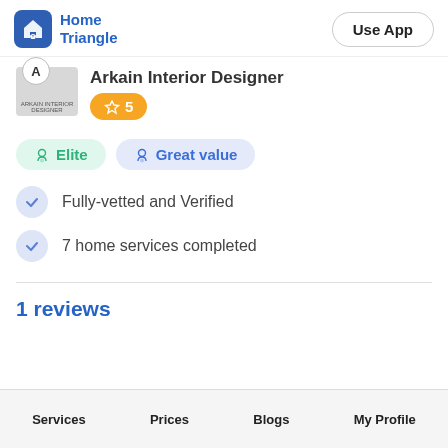Home Triangle | Use App
[Figure (logo): Home Triangle app logo — blue rounded square with house icon and 'Home Triangle' text in blue]
Arkain Interior Designer
★5
Elite  Great value
Fully-vetted and Verified
7 home services completed
1 reviews
Services  Prices  Blogs  My Profile